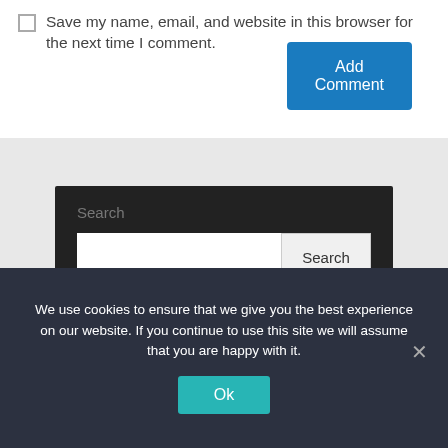Save my name, email, and website in this browser for the next time I comment.
Add Comment
Search
Search
We use cookies to ensure that we give you the best experience on our website. If you continue to use this site we will assume that you are happy with it.
Ok